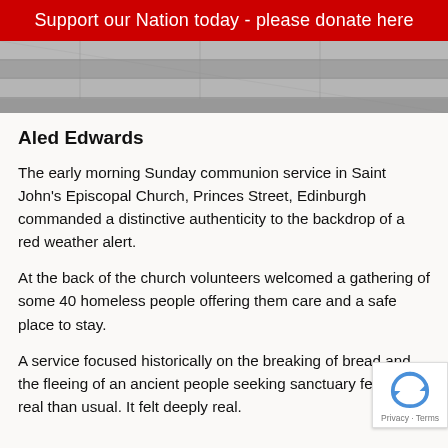Support our Nation today - please donate here
[Figure (photo): Black and white photo of wooden beams or fence panels]
Aled Edwards
The early morning Sunday communion service in Saint John's Episcopal Church, Princes Street, Edinburgh commanded a distinctive authenticity to the backdrop of a red weather alert.
At the back of the church volunteers welcomed a gathering of some 40 homeless people offering them care and a safe place to stay.
A service focused historically on the breaking of bread and the fleeing of an ancient people seeking sanctuary felt more real than usual. It felt deeply real.